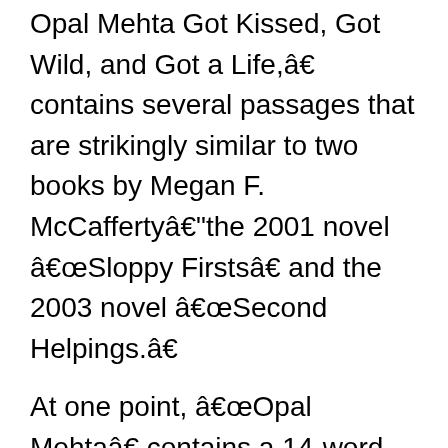Opal Mehta Got Kissed, Got Wild, and Got a Life,” contains several passages that are strikingly similar to two books by Megan F. McCafferty—the 2001 novel “Sloppy Firsts” and the 2003 novel “Second Helpings.”
At one point, “Opal Mehta” contains a 14-word passage that appears verbatim in McCafferty’s book “Sloppy Firsts.”